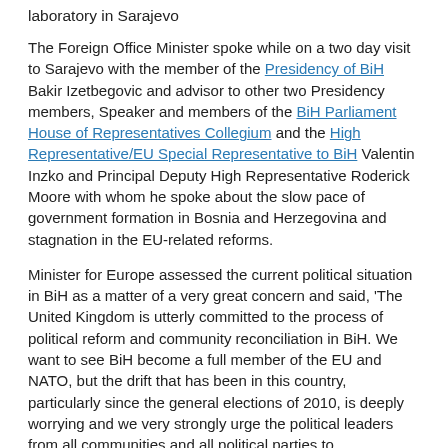laboratory in Sarajevo
The Foreign Office Minister spoke while on a two day visit to Sarajevo with the member of the Presidency of BiH Bakir Izetbegovic and advisor to other two Presidency members, Speaker and members of the BiH Parliament House of Representatives Collegium and the High Representative/EU Special Representative to BiH Valentin Inzko and Principal Deputy High Representative Roderick Moore with whom he spoke about the slow pace of government formation in Bosnia and Herzegovina and stagnation in the EU-related reforms.
Minister for Europe assessed the current political situation in BiH as a matter of a very great concern and said, 'The United Kingdom is utterly committed to the process of political reform and community reconciliation in BiH. We want to see BiH become a full member of the EU and NATO, but the drift that has been in this country, particularly since the general elections of 2010, is deeply worrying and we very strongly urge the political leaders from all communities and all political parties to demonstrate leadership, to make the compromises that are necessary for BiH to move forward.